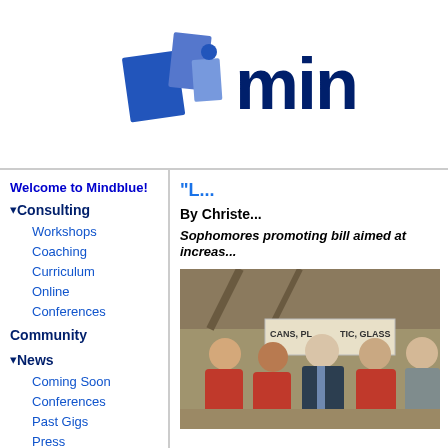[Figure (logo): Mindblue logo with blue geometric shapes and bold dark blue text reading 'mind' (partially visible)]
Welcome to Mindblue!
▾ Consulting
Workshops
Coaching
Curriculum
Online
Conferences
Community
▾ News
Coming Soon
Conferences
Past Gigs
Press
Projects & Media
Publications
▾ Store
LEOs: Freebies
"L..."
By Christe...
Sophomores promoting bill aimed at increas...
[Figure (photo): Group photo of four people (three girls in red and white tie-dye shirts, one older man in a suit and tie, and one man in a blue shirt with glasses) standing in front of a recycling sign reading CANS, PLASTIC, GLASS]